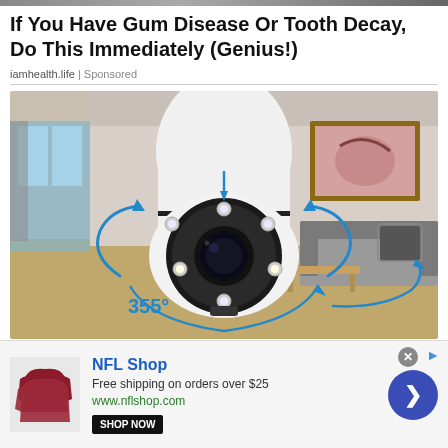If You Have Gum Disease Or Tooth Decay, Do This Immediately (Genius!)
iamhealth.life | Sponsored
[Figure (photo): A white PTZ security camera with a circular lens array showing 6 LED lights and a central lens, with blue curved arrows indicating 355° horizontal and 95° vertical rotation range, set against a blurred modern living room background with hardwood floors, a grey sofa, and a framed picture on the wall.]
[Figure (photo): NFL Shop advertisement banner showing red/maroon jersey product image, NFL Shop logo, text 'Free shipping on orders over $25', URL 'www.nflshop.com', a 'SHOP NOW' button, a blue circular CTA button with right arrow, a grey close button, and AdChoices arrow.]